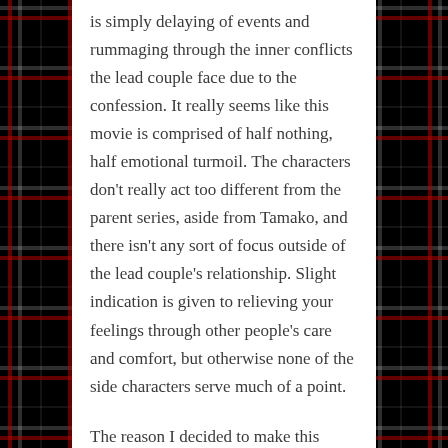is simply delaying of events and rummaging through the inner conflicts the lead couple face due to the confession. It really seems like this movie is comprised of half nothing, half emotional turmoil. The characters don't really act too different from the parent series, aside from Tamako, and there isn't any sort of focus outside of the lead couple's relationship. Slight indication is given to relieving your feelings through other people's care and comfort, but otherwise none of the side characters serve much of a point.
The reason I decided to make this entry quick is because I don't really find there much to say about